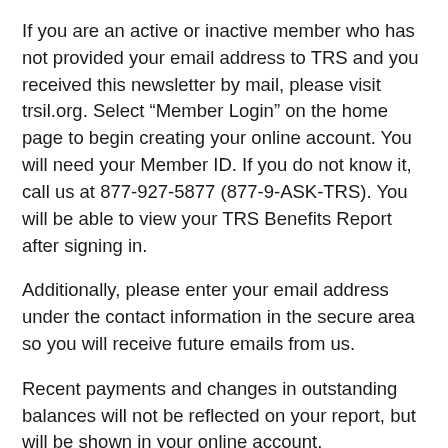If you are an active or inactive member who has not provided your email address to TRS and you received this newsletter by mail, please visit trsil.org. Select “Member Login” on the home page to begin creating your online account. You will need your Member ID. If you do not know it, call us at 877-927-5877 (877-9-ASK-TRS). You will be able to view your TRS Benefits Report after signing in.
Additionally, please enter your email address under the contact information in the secure area so you will receive future emails from us.
Recent payments and changes in outstanding balances will not be reflected on your report, but will be shown in your online account.
If you need to change your beneficiaries, download your personalized Beneficiary Designation form by logging into your secure member account. Print out and mail the completed form or upload it online in the secure area and